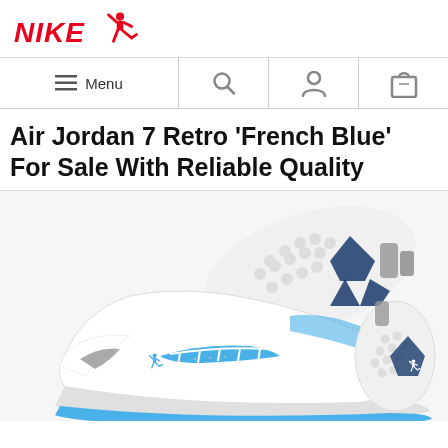[Figure (logo): Nike wordmark logo in red italic text with red Jumpman (Air Jordan) silhouette icon to the right]
[Figure (screenshot): Navigation bar with hamburger Menu icon, search magnifying glass icon, user profile icon, and shopping bag icon]
Air Jordan 7 Retro 'French Blue' For Sale With Reliable Quality
[Figure (photo): Product photo of Air Jordan 7 Retro 'French Blue' sneakers — white leather upper with light blue accents, navy blue outsole with star pattern cutouts, grey details, shown as a pair with one shoe face-up and one showing the sole]